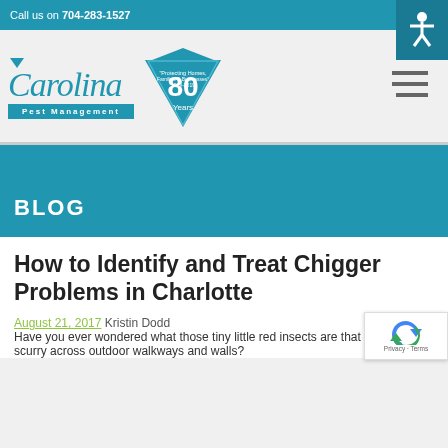Call us on 704-283-1527
[Figure (logo): Carolina Pest Management logo with 80 Years triangle badge and accessibility icon]
BLOG
How to Identify and Treat Chigger Problems in Charlotte
August 21, 2017 Kristin Dodd
Have you ever wondered what those tiny little red insects are that quickly scurry across outdoor walkways and walls?